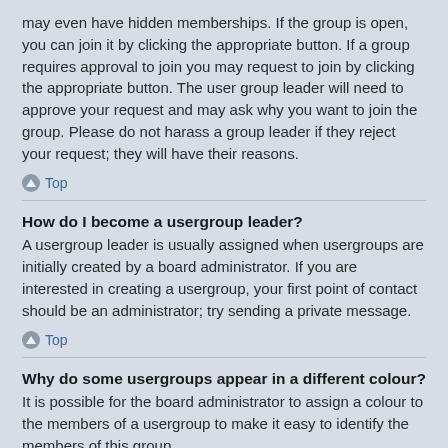may even have hidden memberships. If the group is open, you can join it by clicking the appropriate button. If a group requires approval to join you may request to join by clicking the appropriate button. The user group leader will need to approve your request and may ask why you want to join the group. Please do not harass a group leader if they reject your request; they will have their reasons.
Top
How do I become a usergroup leader?
A usergroup leader is usually assigned when usergroups are initially created by a board administrator. If you are interested in creating a usergroup, your first point of contact should be an administrator; try sending a private message.
Top
Why do some usergroups appear in a different colour?
It is possible for the board administrator to assign a colour to the members of a usergroup to make it easy to identify the members of this group.
Top